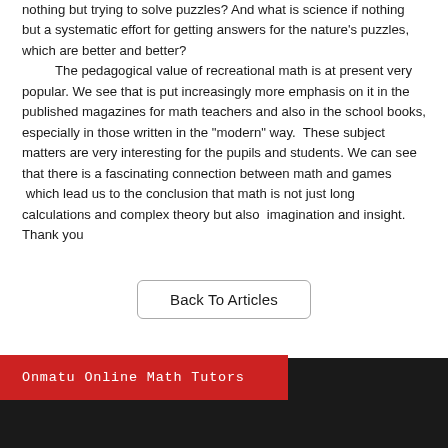nothing but trying to solve puzzles? And what is science if nothing but a systematic effort for getting answers for the nature's puzzles, which are better and better?

The pedagogical value of recreational math is at present very popular. We see that is put increasingly more emphasis on it in the published magazines for math teachers and also in the school books, especially in those written in the "modern" way.  These subject matters are very interesting for the pupils and students. We can see that there is a fascinating connection between math and games  which lead us to the conclusion that math is not just long calculations and complex theory but also  imagination and insight. Thank you
Back To Articles
Onmatu Online Math Tutors